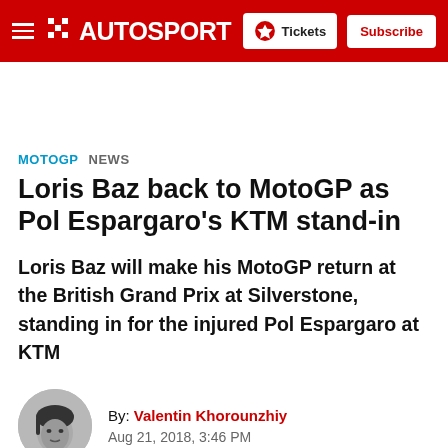AUTOSPORT — Tickets | Subscribe
MOTOGP  NEWS
Loris Baz back to MotoGP as Pol Espargaro's KTM stand-in
Loris Baz will make his MotoGP return at the British Grand Prix at Silverstone, standing in for the injured Pol Espargaro at KTM
By: Valentin Khorounzhiy
Aug 21, 2018, 3:46 PM